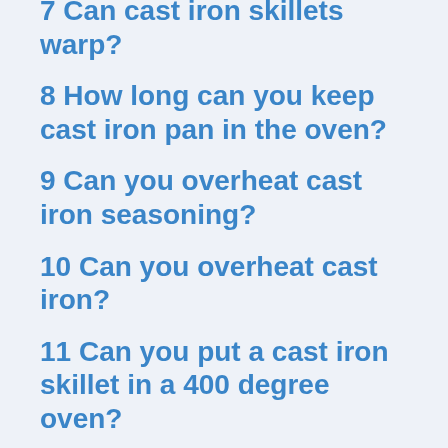7 Can cast iron skillets warp?
8 How long can you keep cast iron pan in the oven?
9 Can you overheat cast iron seasoning?
10 Can you overheat cast iron?
11 Can you put a cast iron skillet in a 400 degree oven?
12 How long can a cast iron skillet go in the oven?